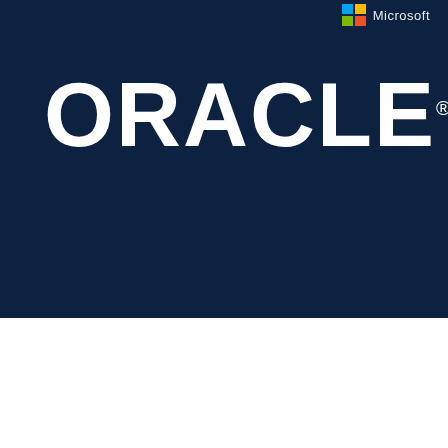[Figure (logo): Microsoft logo partially visible in top right corner with blue and yellow squares and 'Microsoft' text in white]
[Figure (logo): Oracle logo in large white bold text on dark navy background with registered trademark symbol]
[Figure (illustration): Abstract swirl/interlocking rings graphic in white outline on dark navy background, Oracle Pathfinder branding element]
Pathfinder
We use cookies to ensure you get the best user experience on our website. By continuing to use this site, you agree to the use of these cookies.
Find out more
Okay, I agree